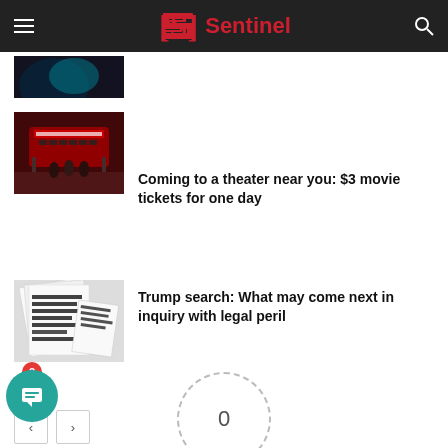Sentinel
[Figure (photo): Partially visible thumbnail at top, dark image with blue/red tones]
Coming to a theater near you: $3 movie tickets for one day
Trump search: What may come next in inquiry with legal peril
Pagination buttons: previous (<) and next (>)
Chat button with badge showing 2
0